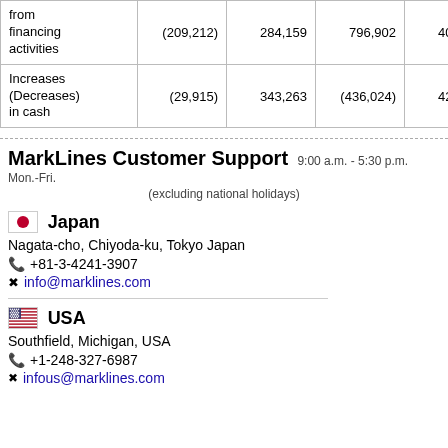|  |  |  |  |  |  |
| --- | --- | --- | --- | --- | --- |
| from financing activities | (209,212) | 284,159 | 796,902 | 409,522 | 38,86… |
| Increases (Decreases) in cash | (29,915) | 343,263 | (436,024) | 426,140 | 295,23… |
MarkLines Customer Support 9:00 a.m. - 5:30 p.m. Mon.-Fri.
(excluding national holidays)
🇯🇵 Japan
Nagata-cho, Chiyoda-ku, Tokyo Japan
📞 +81-3-4241-3907
✉ info@marklines.com
🇺🇸 USA
Southfield, Michigan, USA
📞 +1-248-327-6987
✉ infous@marklines.com